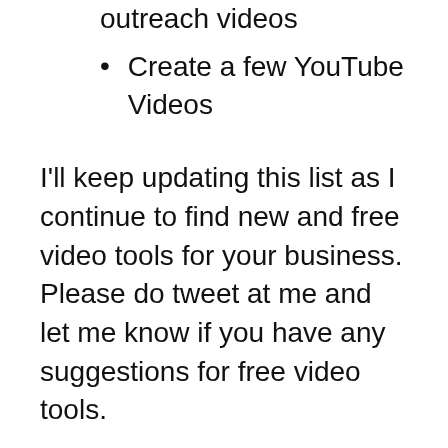outreach videos
Create a few YouTube Videos
I'll keep updating this list as I continue to find new and free video tools for your business. Please do tweet at me and let me know if you have any suggestions for free video tools.